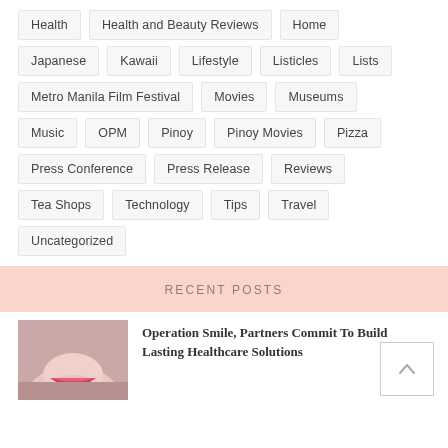Health
Health and Beauty Reviews
Home
Japanese
Kawaii
Lifestyle
Listicles
Lists
Metro Manila Film Festival
Movies
Museums
Music
OPM
Pinoy
Pinoy Movies
Pizza
Press Conference
Press Release
Reviews
Tea Shops
Technology
Tips
Travel
Uncategorized
RECENT POSTS
[Figure (photo): Close-up photo of a person smiling with red lipstick]
Operation Smile, Partners Commit To Build Lasting Healthcare Solutions